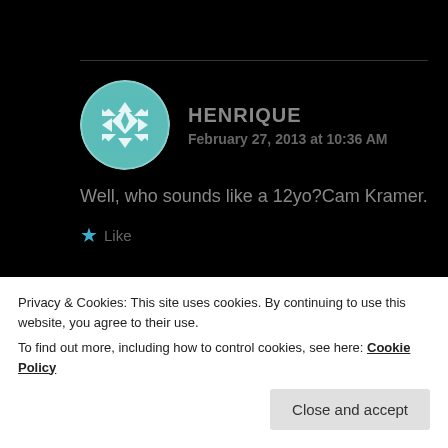[Figure (illustration): Geometric teal/white pattern avatar for user Henrique (first comment)]
HENRIQUE
February 27, 2013 at 10:36 AM
Well, who sounds like a 12yo?Cam Kramer.
★ Like
[Figure (illustration): Geometric teal/white pattern avatar for user Henrique (second comment), partially cropped]
HENRIQUE
us GROW FUCKING UP!
Privacy & Cookies: This site uses cookies. By continuing to use this website, you agree to their use.
To find out more, including how to control cookies, see here: Cookie Policy
Close and accept